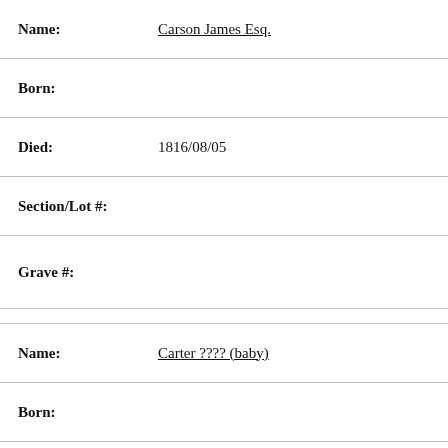Name: Carson James Esq.
Born:
Died: 1816/08/05
Section/Lot #:
Grave #:
Name: Carter ???? (baby)
Born:
Died: 1896/01/24
Section/Lot #: F - 67
Grave #: Grave # C.